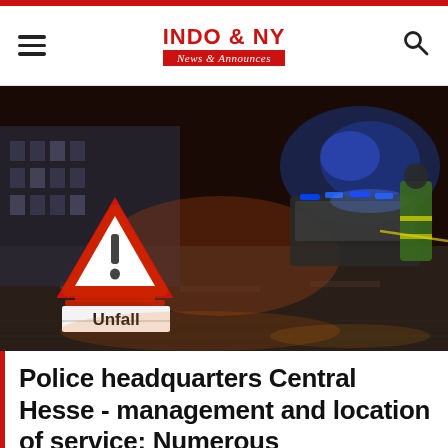INDO & NY News & Announces
[Figure (photo): Night scene showing a red and white triangular warning sign reading 'Unfall' (German for accident) on a road, with police car blue lights and an officer in high-visibility jacket visible in the background.]
Police headquarters Central Hesse - management and location of service: Numerous